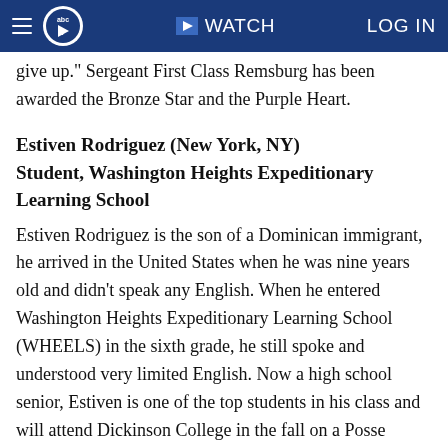abc7 WATCH LOG IN
give up." Sergeant First Class Remsburg has been awarded the Bronze Star and the Purple Heart.
Estiven Rodriguez (New York, NY)
Student, Washington Heights Expeditionary Learning School
Estiven Rodriguez is the son of a Dominican immigrant, he arrived in the United States when he was nine years old and didn't speak any English. When he entered Washington Heights Expeditionary Learning School (WHEELS) in the sixth grade, he still spoke and understood very limited English. Now a high school senior, Estiven is one of the top students in his class and will attend Dickinson College in the fall on a Posse Foundation Scholarship, making him a first-generation college student. "At only 16, 17 years old, he, in